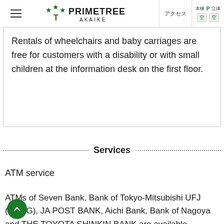[Figure (logo): Primetree Akaike logo with stars and letter T, navigation header with hamburger menu, アクセス button, and parking icons]
Rentals of wheelchairs and baby carriages are free for customers with a disability or with small children at the information desk on the first floor.
Services
ATM service
ATMs of Seven Bank, Bank of Tokyo-Mitsubishi UFJ (MUFG), JA POST BANK, Aichi Bank, Bank of Nagoya and THE TOYOTA SHINKIN BANK are available.